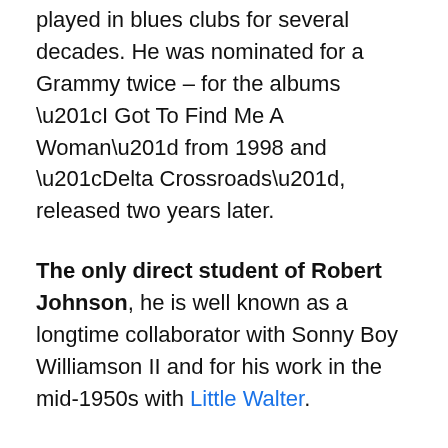played in blues clubs for several decades. He was nominated for a Grammy twice – for the albums “I Got To Find Me A Woman” from 1998 and “Delta Crossroads”, released two years later.
The only direct student of Robert Johnson, he is well known as a longtime collaborator with Sonny Boy Williamson II and for his work in the mid-1950s with Little Walter.